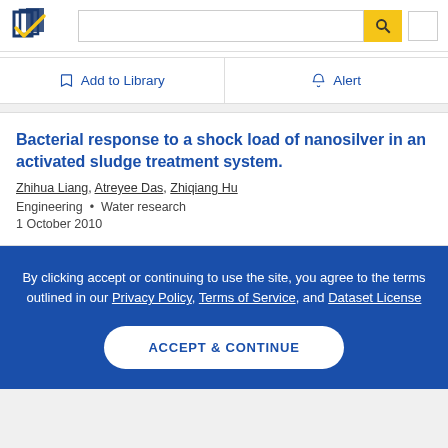[Figure (logo): Semantic Scholar logo — navy and gold stylized book/checkmark icon]
Add to Library
Alert
Bacterial response to a shock load of nanosilver in an activated sludge treatment system.
Zhihua Liang, Atreyee Das, Zhiqiang Hu
Engineering • Water research
1 October 2010
By clicking accept or continuing to use the site, you agree to the terms outlined in our Privacy Policy, Terms of Service, and Dataset License
ACCEPT & CONTINUE